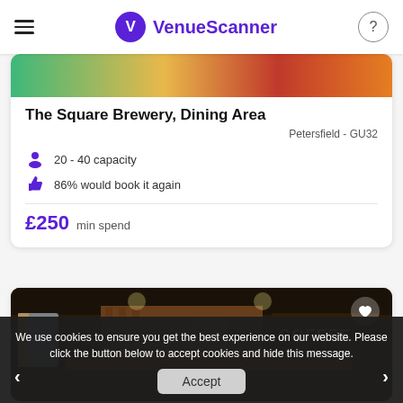VenueScanner
[Figure (photo): Colorful decorative image strip at top of venue card]
The Square Brewery, Dining Area
Petersfield - GU32
20 - 40 capacity
86% would book it again
£250  min spend
[Figure (photo): Interior photo of a coffee bar/pub venue with wooden fixtures and COFFEE signage on the wall]
We use cookies to ensure you get the best experience on our website. Please click the button below to accept cookies and hide this message.
Accept